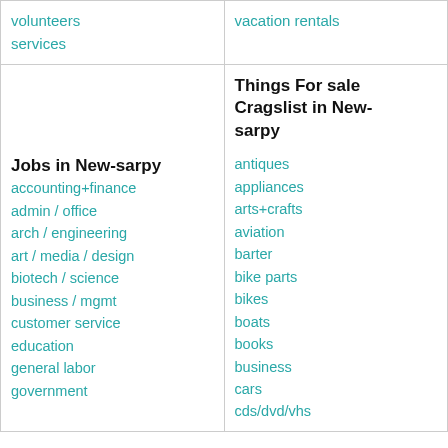volunteers
services
vacation rentals
Jobs in New-sarpy
accounting+finance
admin / office
arch / engineering
art / media / design
biotech / science
business / mgmt
customer service
education
general labor
government
Things For sale Cragslist in New-sarpy
antiques
appliances
arts+crafts
aviation
barter
bike parts
bikes
boats
books
business
cars
cds/dvd/vhs